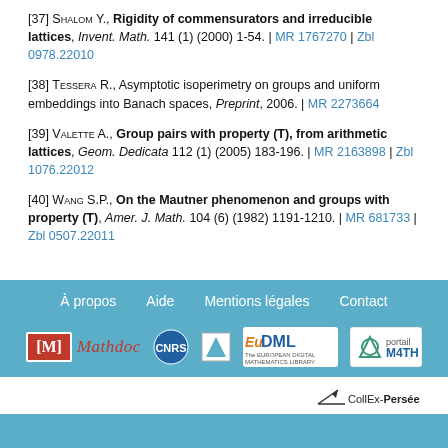[37] Shalom Y., Rigidity of commensurators and irreducible lattices, Invent. Math. 141 (1) (2000) 1-54. | MR 1767270 | Zbl 0978.22010
[38] Tessera R., Asymptotic isoperimetry on groups and uniform embeddings into Banach spaces, Preprint, 2006. | MR 2273664
[39] Valette A., Group pairs with property (T), from arithmetic lattices, Geom. Dedicata 112 (1) (2005) 183-196. | MR 2163898 | Zbl 1076.22012
[40] Wang S.P., On the Mautner phenomenon and groups with property (T), Amer. J. Math. 104 (6) (1982) 1191-1210. | MR 681733 | Zbl 0507.22011
À propos  Aide  Mentions légales  Contact